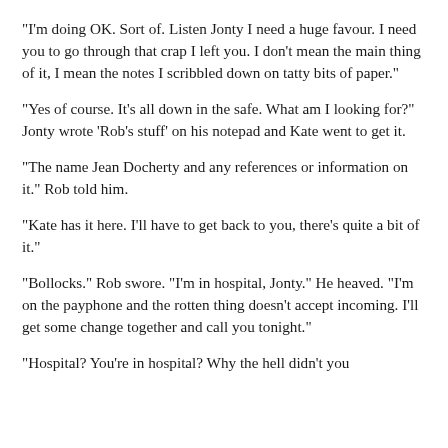"I'm doing OK. Sort of. Listen Jonty I need a huge favour. I need you to go through that crap I left you. I don't mean the main thing of it, I mean the notes I scribbled down on tatty bits of paper."
"Yes of course. It's all down in the safe. What am I looking for?" Jonty wrote 'Rob's stuff' on his notepad and Kate went to get it.
"The name Jean Docherty and any references or information on it." Rob told him.
"Kate has it here. I'll have to get back to you, there's quite a bit of it."
"Bollocks." Rob swore. "I'm in hospital, Jonty." He heaved. "I'm on the payphone and the rotten thing doesn't accept incoming. I'll get some change together and call you tonight."
"Hospital? You're in hospital? Why the hell didn't you